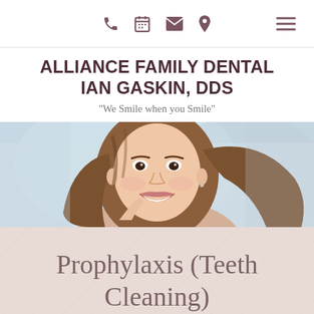Navigation bar with phone, calendar, email, location icons and hamburger menu
ALLIANCE FAMILY DENTAL IAN GASKIN, DDS
"We Smile when you Smile"
[Figure (photo): Smiling young woman with long brown hair, bright smile, light background]
Prophylaxis (Teeth Cleaning)